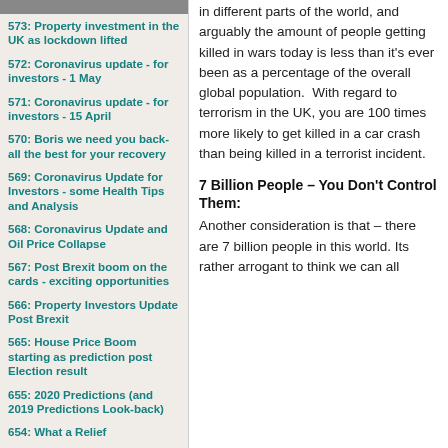573: Property investment in the UK as lockdown lifted
572: Coronavirus update - for investors - 1 May
571: Coronavirus update - for investors - 15 April
570: Boris we need you back- all the best for your recovery
569: Coronavirus Update for Investors - some Health Tips and Analysis
568: Coronavirus Update and Oil Price Collapse
567: Post Brexit boom on the cards - exciting opportunities
566: Property Investors Update Post Brexit
565: House Price Boom starting as prediction post Election result
655: 2020 Predictions (and 2019 Predictions Look-back)
654: What a Relief
653: Marxist Corbyn could be Prime Minister In 5 Days – Call for Action
652: Crisis of Hung Parliament with SNP/Labour fudge
in different parts of the world, and arguably the amount of people getting killed in wars today is less than it's ever been as a percentage of the overall global population.  With regard to terrorism in the UK, you are 100 times more likely to get killed in a car crash than being killed in a terrorist incident.
7 Billion People – You Don't Control Them:
Another consideration is that – there are 7 billion people in this world. Its rather arrogant to think we can all